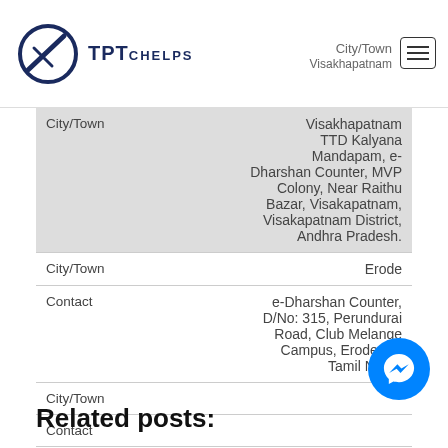TPTOHELPS — City/Town | Visakhapatnam
| Field | Value |
| --- | --- |
| City/Town | Visakhapatnam TTD Kalyana Mandapam, e-Dharshan Counter, MVP Colony, Near Raithu Bazar, Visakapatnam, Visakapatnam District, Andhra Pradesh. |
| City/Town | Erode |
| Contact | e-Dharshan Counter, D/No: 315, Perundurai Road, Club Melange Campus, Erode-11, Tamil Nadu. |
| City/Town |  |
| Contact |  |
Related posts: